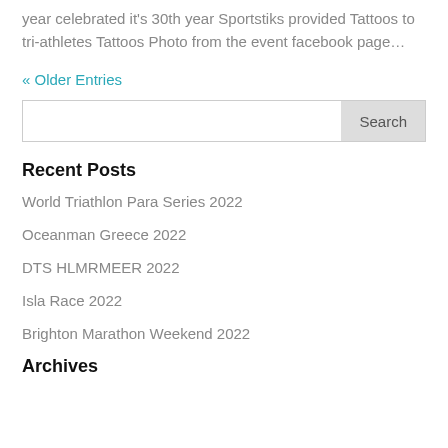year celebrated it's 30th year Sportstiks provided Tattoos to tri-athletes Tattoos Photo from the event facebook page…
« Older Entries
Search
Recent Posts
World Triathlon Para Series 2022
Oceanman Greece 2022
DTS HLMRMEER 2022
Isla Race 2022
Brighton Marathon Weekend 2022
Archives